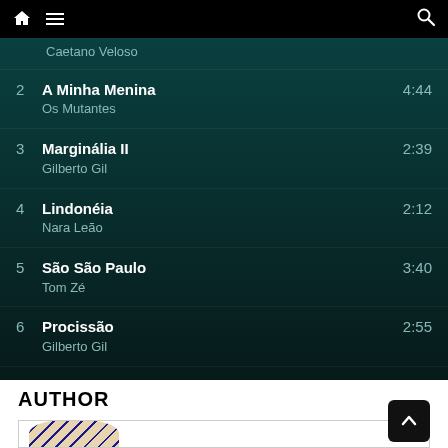Navigation bar with home, menu, and search icons
Caetano Veloso
2  A Minha Menina  Os Mutantes  4:44
3  Marginália II  Gilberto Gil  2:39
4  Lindonéia  Nara Leão  2:12
5  São São Paulo  Tom Zé  3:40
6  Procissão  Gilberto Gil  2:55
AUTHOR
[Figure (photo): Partial author photo at bottom of page]